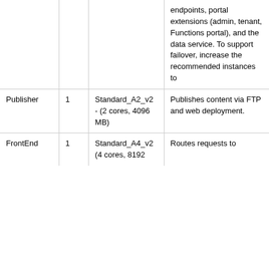| Component | Instances | VM Size | Description |
| --- | --- | --- | --- |
|  |  |  | endpoints, portal extensions (admin, tenant, Functions portal), and the data service. To support failover, increase the recommended instances to |
| Publisher | 1 | Standard_A2_v2 - (2 cores, 4096 MB) | Publishes content via FTP and web deployment. |
| FrontEnd | 1 | Standard_A4_v2 (4 cores, 8192 | Routes requests to |